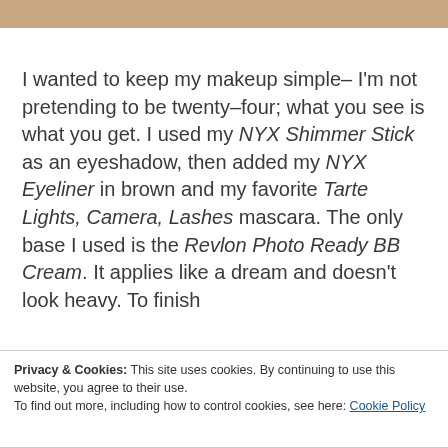[Figure (photo): Partial photo strip at top of page showing a person, cropped]
I wanted to keep my makeup simple– I'm not pretending to be twenty–four; what you see is what you get. I used my NYX Shimmer Stick as an eyeshadow, then added my NYX Eyeliner in brown and my favorite Tarte Lights, Camera, Lashes mascara. The only base I used is the Revlon Photo Ready BB Cream. It applies like a dream and doesn't look heavy. To finish
Privacy & Cookies: This site uses cookies. By continuing to use this website, you agree to their use.
To find out more, including how to control cookies, see here: Cookie Policy
Close and accept